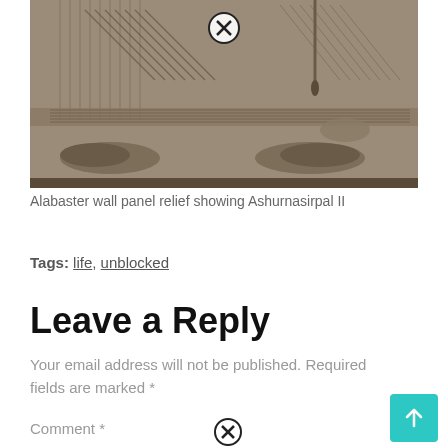[Figure (photo): Alabaster wall panel relief showing Ashurnasirpal II — carved stone detail showing robes, sandals, and decorative fringe patterns]
Alabaster wall panel relief showing Ashurnasirpal II
Tags: life, unblocked
Leave a Reply
Your email address will not be published. Required fields are marked *
Comment *